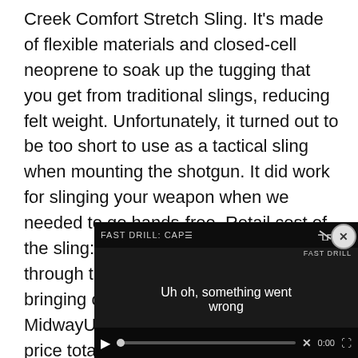Creek Comfort Stretch Sling. It's made of flexible materials and closed-cell neoprene to soak up the tugging that you get from traditional slings, reducing felt weight. Unfortunately, it turned out to be too short to use as a tactical sling when mounting the shotgun. It did work for slinging your weapon when we needed to go hands-free. Retail cost of the sling: $25, which poked a hole through the roof of our budget by bringing our total to $623. But, MidwayUSA.com sold it for $19. Street-price total? Still on track at just $581.
[Figure (screenshot): Video player overlay showing error message 'Uh oh, something went wrong' with FAST DRILL: CAP label, mute icon, X mark, play button, progress bar at 0:00, and fullscreen button. Dark background.]